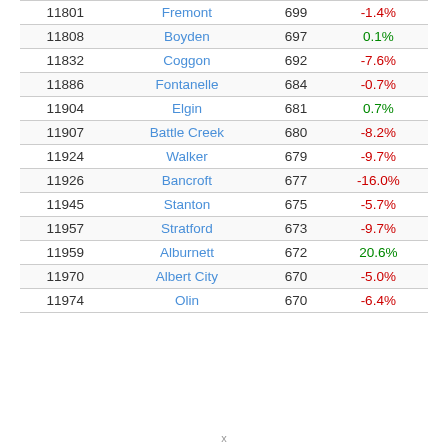| Rank | City | Population | Change |
| --- | --- | --- | --- |
| 11801 | Fremont | 699 | -1.4% |
| 11808 | Boyden | 697 | 0.1% |
| 11832 | Coggon | 692 | -7.6% |
| 11886 | Fontanelle | 684 | -0.7% |
| 11904 | Elgin | 681 | 0.7% |
| 11907 | Battle Creek | 680 | -8.2% |
| 11924 | Walker | 679 | -9.7% |
| 11926 | Bancroft | 677 | -16.0% |
| 11945 | Stanton | 675 | -5.7% |
| 11957 | Stratford | 673 | -9.7% |
| 11959 | Alburnett | 672 | 20.6% |
| 11970 | Albert City | 670 | -5.0% |
| 11974 | Olin | 670 | -6.4% |